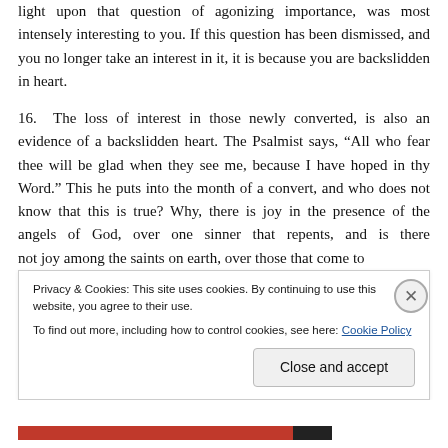light upon that question of agonizing importance, was most intensely interesting to you. If this question has been dismissed, and you no longer take an interest in it, it is because you are backslidden in heart.
16. The loss of interest in those newly converted, is also an evidence of a backslidden heart. The Psalmist says, “All who fear thee will be glad when they see me, because I have hoped in thy Word.” This he puts into the month of a convert, and who does not know that this is true? Why, there is joy in the presence of the angels of God, over one sinner that repents, and is there not joy among the saints on earth, over those that come to
Privacy & Cookies: This site uses cookies. By continuing to use this website, you agree to their use.
To find out more, including how to control cookies, see here: Cookie Policy
Close and accept